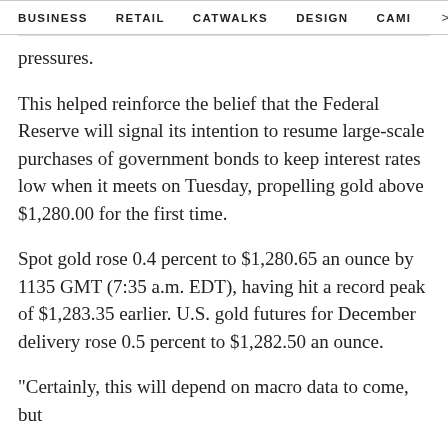BUSINESS   RETAIL   CATWALKS   DESIGN   CAMI  >
pressures.
This helped reinforce the belief that the Federal Reserve will signal its intention to resume large-scale purchases of government bonds to keep interest rates low when it meets on Tuesday, propelling gold above $1,280.00 for the first time.
Spot gold rose 0.4 percent to $1,280.65 an ounce by 1135 GMT (7:35 a.m. EDT), having hit a record peak of $1,283.35 earlier. U.S. gold futures for December delivery rose 0.5 percent to $1,282.50 an ounce.
"Certainly, this will depend on macro data to come, but